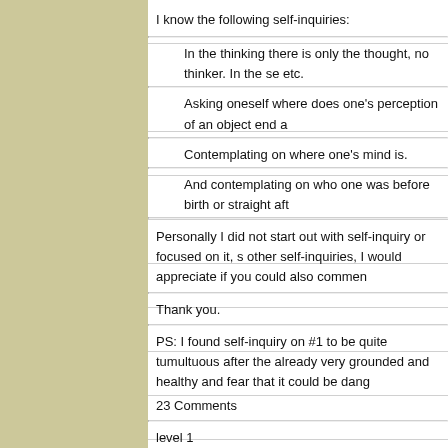I know the following self-inquiries:
In the thinking there is only the thought, no thinker. In the se etc.
Asking oneself where does one's perception of an object end a
Contemplating on where one's mind is.
And contemplating on who one was before birth or straight aft
Personally I did not start out with self-inquiry or focused on it, s other self-inquiries, I would appreciate if you could also commen
Thank you.
PS: I found self-inquiry on #1 to be quite tumultuous after the already very grounded and healthy and fear that it could be dang
23 Comments
level 1
xabir
.